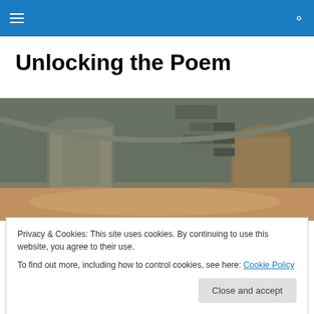Unlocking the Poem
[Figure (photo): Interior of a large stone or concrete vaulted building with two arched doorways, one showing bright orange/warm light, the other showing an exterior view. Peeling paint on walls.]
About Unlocking the Poem
Privacy & Cookies: This site uses cookies. By continuing to use this website, you agree to their use.
To find out more, including how to control cookies, see here: Cookie Policy
from the workshop assignments of Ottone M. Riccio, a